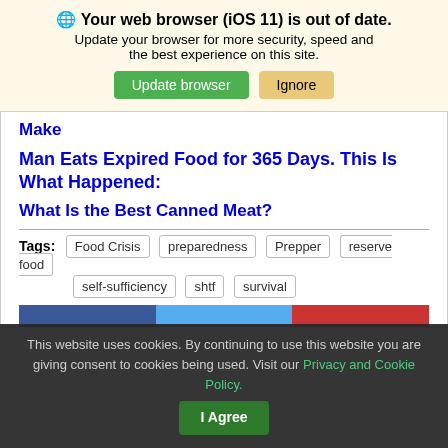🌐 Your web browser (iOS 11) is out of date. Update your browser for more security, speed and the best experience on this site.
Make
Man Eats Expired Food for 365 Days. This Is What Happened:
What Is the Best Canned Meat?
Tags: Food Crisis  preparedness  Prepper  reserve food  self-sufficiency  shtf  survival
This website uses cookies. By continuing to use this website you are giving consent to cookies being used. Visit our Privacy and Cookie Policy.